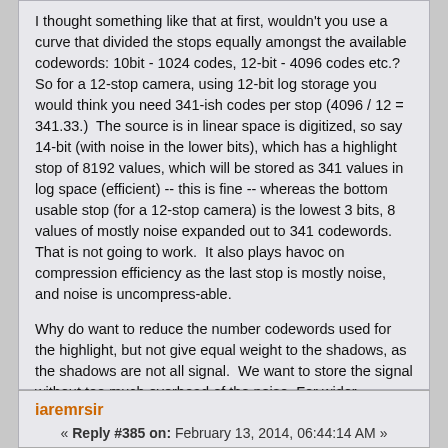I thought something like that at first, wouldn't you use a curve that divided the stops equally amongst the available codewords: 10bit - 1024 codes, 12-bit - 4096 codes etc.?  So for a 12-stop camera, using 12-bit log storage you would think you need 341-ish codes per stop (4096 / 12 = 341.33.)  The source is in linear space is digitized, so say 14-bit (with noise in the lower bits), which has a highlight stop of 8192 values, which will be stored as 341 values in log space (efficient) -- this is fine -- whereas the bottom usable stop (for a 12-stop camera) is the lowest 3 bits, 8 values of mostly noise expanded out to 341 codewords.   That is not going to work.  It also plays havoc on compression efficiency as the last stop is mostly noise, and noise is uncompress-able.
Why do want to reduce the number codewords used for the highlight, but not give equal weight to the shadows, as the shadows are not all signal.  We want to store the signal without too much overhead of the noise. For wider dynamic range systems there is a lower noise floor, so we need to use fewer bits in the highlights saving more codes for the lower stops. That is why there are different log curves.
Logged
iaremrsir
« Reply #385 on: February 13, 2014, 06:44:14 AM »